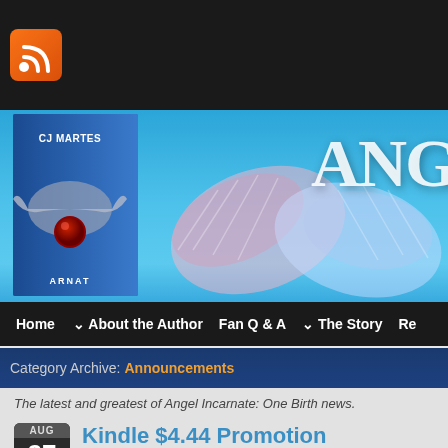[Figure (screenshot): RSS feed icon - orange rounded square with white WiFi/RSS symbol]
[Figure (illustration): Website banner showing book cover of CJ Martes Angel Incarnate with angel wings on blue sky background and large text ANG...]
Home  About the Author  Fan Q & A  The Story  Re
Category Archive: Announcements
The latest and greatest of Angel Incarnate: One Birth news.
Kindle $4.44 Promotion
Announcements